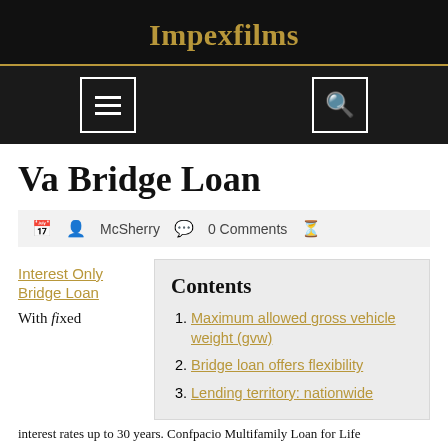Impexfilms
Va Bridge Loan
McSherry   0 Comments
Interest Only Bridge Loan
Contents
1. Maximum allowed gross vehicle weight (gvw)
2. Bridge loan offers flexibility
3. Lending territory: nationwide
With fixed
interest rates up to 30 years. Confpacio Multifamily Loan for Life